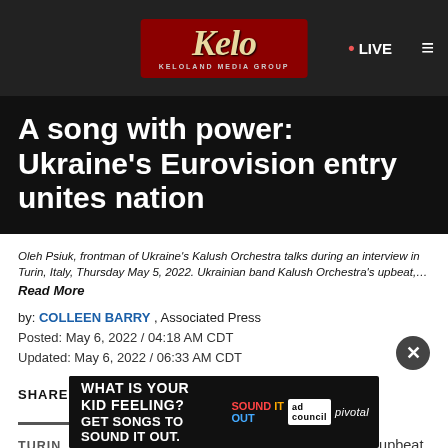KELOLAND Media Group — LIVE
A song with power: Ukraine's Eurovision entry unites nation
Oleh Psiuk, frontman of Ukraine's Kalush Orchestra talks during an interview in Turin, Italy, Thursday May 5, 2022. Ukrainian band Kalush Orchestra's upbeat,… Read More
by: COLLEEN BARRY , Associated Press
Posted: May 6, 2022 / 04:18 AM CDT
Updated: May 6, 2022 / 06:33 AM CDT
SHARE
TURIN, Italy (AP) — Ukrainian band Kalush Orchestra's upbeat, melodic entry for this month's Eurovision
[Figure (infographic): Advertisement banner: WHAT IS YOUR KID FEELING? GET SONGS TO SOUND IT OUT. — Sound It Out / Ad Council / pivotal]